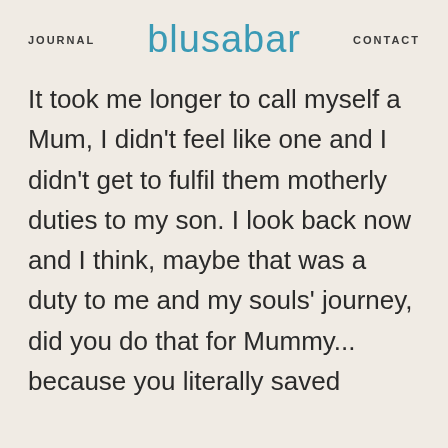JOURNAL  blusabar  CONTACT
It took me longer to call myself a Mum, I didn't feel like one and I didn't get to fulfil them motherly duties to my son. I look back now and I think, maybe that was a duty to me and my souls' journey, did you do that for Mummy... because you literally saved